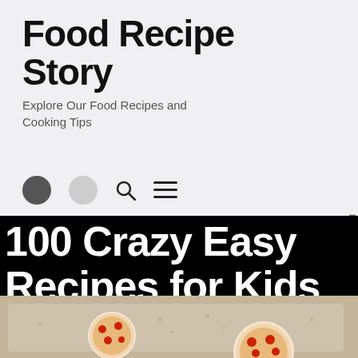Food Recipe Story
Explore Our Food Recipes and Cooking Tips
[Figure (screenshot): Navigation bar with dark circle, light circle, search icon, and hamburger menu icon]
PREVIOUS POST
NEXT POST
[Figure (photo): Featured image with black banner text reading '100 Crazy Easy Recipes for Kids' overlaid on a photo of mini pizzas on a baking tray]